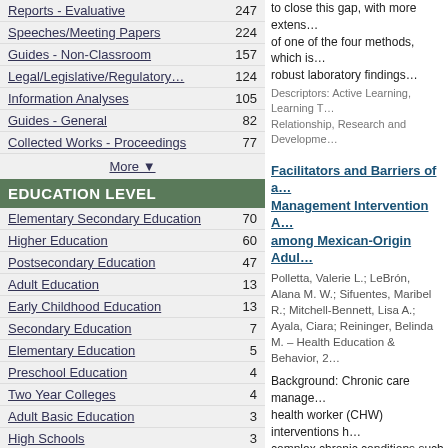Reports - Evaluative 247
Speeches/Meeting Papers 224
Guides - Non-Classroom 157
Legal/Legislative/Regulatory… 124
Information Analyses 105
Guides - General 82
Collected Works - Proceedings 77
More ▼
EDUCATION LEVEL
Elementary Secondary Education 70
Higher Education 60
Postsecondary Education 47
Adult Education 13
Early Childhood Education 13
Secondary Education 7
Elementary Education 5
Preschool Education 4
Two Year Colleges 4
Adult Basic Education 3
High Schools 3
More ▼
to close this gap, with more extensive… of one of the four methods, which is… robust laboratory findings…
Descriptors: Active Learning, Learning T… Relationship, Research and Developme…
Facilitators and Barriers of a… Management Intervention A… among Mexican-Origin Adul…
Polletta, Valerie L.; LeBrón, Alana M. W.; Sifuentes, Maribel R.; Mitchell-Bennett, Lisa A.; Ayala, Ciara; Reininger, Belinda M. – Health Education & Behavior, 2…
Background: Chronic care manage… health worker (CHW) interventions h… complex chronic conditions such as… comorbidities. This qualitative study… barriers to the implementation of an… that explicitly incorporated program…
Descriptors: Diabetes, Mexican America…
Higher Education: Approach… Used in College Campus Su…